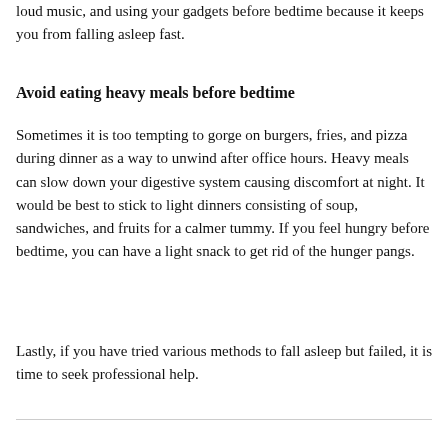loud music, and using your gadgets before bedtime because it keeps you from falling asleep fast.
Avoid eating heavy meals before bedtime
Sometimes it is too tempting to gorge on burgers, fries, and pizza during dinner as a way to unwind after office hours. Heavy meals can slow down your digestive system causing discomfort at night. It would be best to stick to light dinners consisting of soup, sandwiches, and fruits for a calmer tummy. If you feel hungry before bedtime, you can have a light snack to get rid of the hunger pangs.
Lastly, if you have tried various methods to fall asleep but failed, it is time to seek professional help.